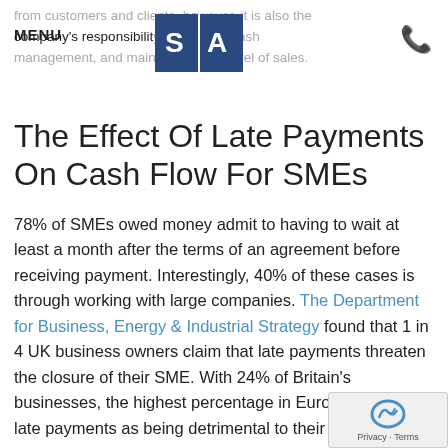from customers and clients, however, it is also the company's responsibility to rigorous cash management, and maintain a good level of sales.
The Effect Of Late Payments On Cash Flow For SMEs
78% of SMEs owed money admit to having to wait at least a month after the terms of an agreement before receiving payment. Interestingly, 40% of these cases is through working with large companies. The Department for Business, Energy & Industrial Strategy found that 1 in 4 UK business owners claim that late payments threaten the closure of their SME. With 24% of Britain's businesses, the highest percentage in Europe, claiming late payments as being detrimental to their survival, it is clear that something is going very wrong somewhere.